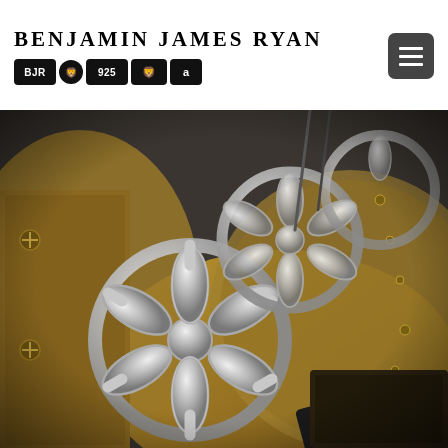Benjamin James Ryan BJR 925
[Figure (photo): Close-up photograph of silver jewellery pieces with flower/petal geometric design (Seed of Life / Celtic knot style rings) resting on brass clock or watch mechanism parts, showing intricate metalwork craftsmanship.]